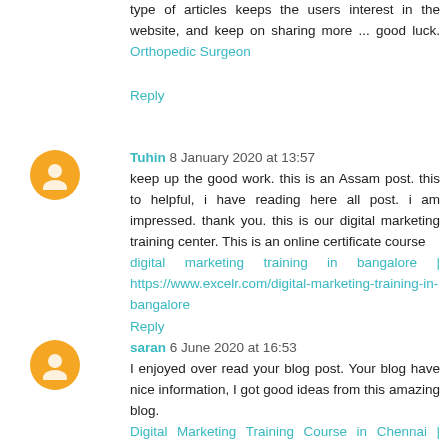type of articles keeps the users interest in the website, and keep on sharing more ... good luck. Orthopedic Surgeon
Reply
Tuhin 8 January 2020 at 13:57
keep up the good work. this is an Assam post. this to helpful, i have reading here all post. i am impressed. thank you. this is our digital marketing training center. This is an online certificate course digital marketing training in bangalore | https://www.excelr.com/digital-marketing-training-in-bangalore
Reply
saran 6 June 2020 at 16:53
I enjoyed over read your blog post. Your blog have nice information, I got good ideas from this amazing blog. Digital Marketing Training Course in Chennai | Digital Marketing Training Course in Anna Nagar | Digital